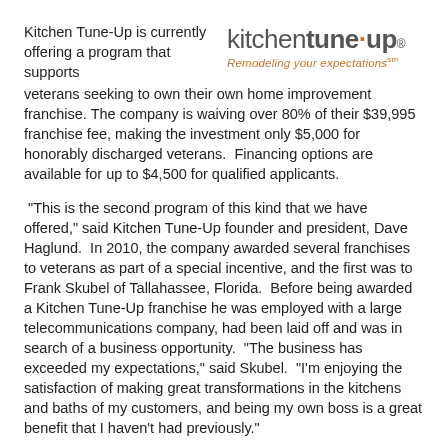[Figure (logo): Kitchen Tune-Up logo with tagline 'Remodeling your expectations']
Kitchen Tune-Up is currently offering a program that supports veterans seeking to own their own home improvement franchise. The company is waiving over 80% of their $39,995 franchise fee, making the investment only $5,000 for honorably discharged veterans. Financing options are available for up to $4,500 for qualified applicants.
“This is the second program of this kind that we have offered,” said Kitchen Tune-Up founder and president, Dave Haglund. In 2010, the company awarded several franchises to veterans as part of a special incentive, and the first was to Frank Skubel of Tallahassee, Florida. Before being awarded a Kitchen Tune-Up franchise he was employed with a large telecommunications company, had been laid off and was in search of a business opportunity. “The business has exceeded my expectations,” said Skubel. “I’m enjoying the satisfaction of making great transformations in the kitchens and baths of my customers, and being my own boss is a great benefit that I haven’t had previously.”